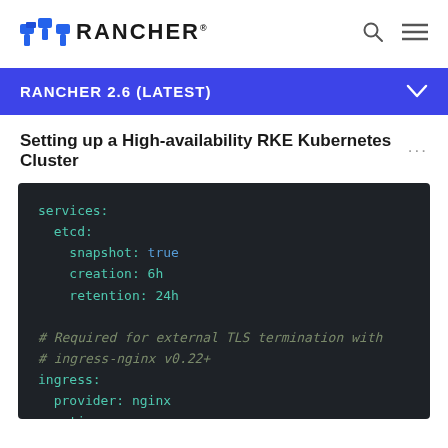RANCHER
RANCHER 2.6 (LATEST)
Setting up a High-availability RKE Kubernetes Cluster ···
[Figure (screenshot): Dark background code block showing YAML configuration: services: etcd: snapshot: true, creation: 6h, retention: 24h. Comment: # Required for external TLS termination with # ingress-nginx v0.22+. ingress: provider: nginx, options: use-forwarded-headers: "true"]